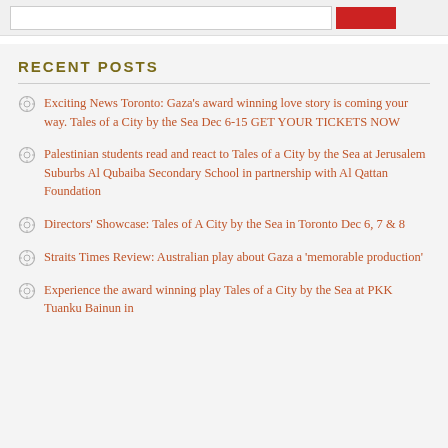RECENT POSTS
Exciting News Toronto: Gaza's award winning love story is coming your way. Tales of a City by the Sea Dec 6-15 GET YOUR TICKETS NOW
Palestinian students read and react to Tales of a City by the Sea at Jerusalem Suburbs Al Qubaiba Secondary School in partnership with Al Qattan Foundation
Directors' Showcase: Tales of A City by the Sea in Toronto Dec 6, 7 & 8
Straits Times Review: Australian play about Gaza a 'memorable production'
Experience the award winning play Tales of a City by the Sea at PKK Tuanku Bainun in